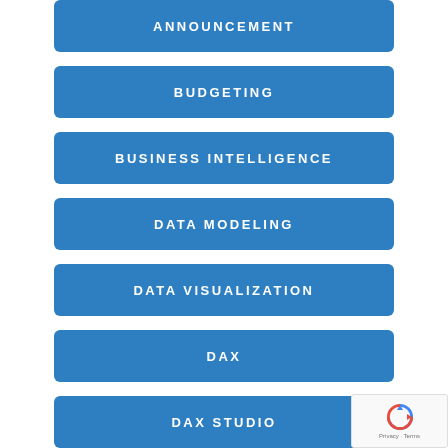ANNOUNCEMENT
BUDGETING
BUSINESS INTELLIGENCE
DATA MODELING
DATA VISUALIZATION
DAX
DAX STUDIO